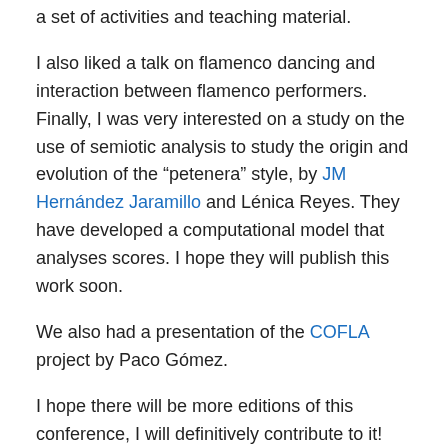a set of activities and teaching material.
I also liked a talk on flamenco dancing and interaction between flamenco performers. Finally, I was very interested on a study on the use of semiotic analysis to study the origin and evolution of the “petenera” style, by JM Hernández Jaramillo and Lénica Reyes. They have developed a computational model that analyses scores. I hope they will publish this work soon.
We also had a presentation of the COFLA project by Paco Gómez.
I hope there will be more editions of this conference, I will definitively contribute to it!
Share this: